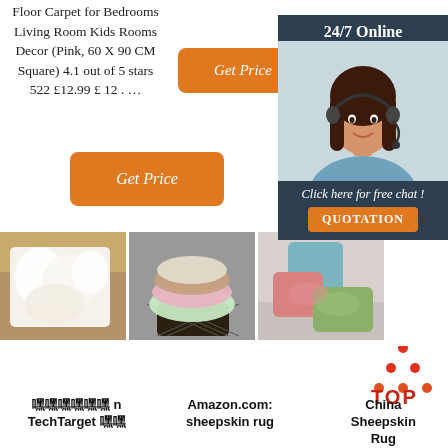Floor Carpet for Bedrooms Living Room Kids Rooms Decor (Pink, 60 X 90 CM Square) 4.1 out of 5 stars 522 £12.99 £ 12 . …
[Figure (other): Orange 'Get Price' button (top center)]
[Figure (other): Orange 'Get Price' button (top right)]
[Figure (other): Orange 'Get Price' button (bottom left)]
[Figure (other): Chat panel with woman wearing headset, '24/7 Online', 'Click here for free chat!', 'QUOTATION' button]
[Figure (photo): White fluffy sheepskin rug/cushion on wooden surface]
[Figure (photo): Stack of colorful fluffy sheepskin pieces in basket]
[Figure (photo): Colorful fluffy pillows/rugs in pink and green]
[Figure (logo): TOP logo with red/orange dots forming triangle, red TOP text]
嘿嘿嘿嘿嘿嘿 n TechTarget 嘿嘿
Amazon.com: sheepskin rug
China Sheepskin Rug